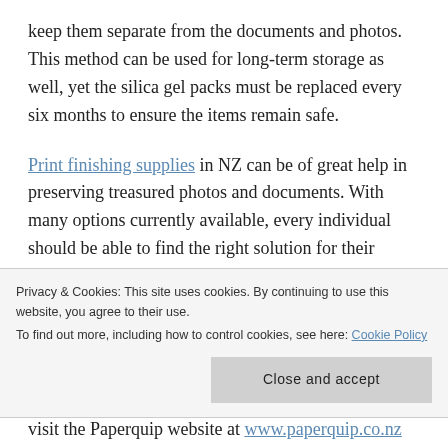keep them separate from the documents and photos. This method can be used for long-term storage as well, yet the silica gel packs must be replaced every six months to ensure the items remain safe.
Print finishing supplies in NZ can be of great help in preserving treasured photos and documents. With many options currently available, every individual should be able to find the right solution for their unique needs. If help is needed in determining which items should be obtained, Paperquip can be of help, as they work with clients daily to figure out
Privacy & Cookies: This site uses cookies. By continuing to use this website, you agree to their use.
To find out more, including how to control cookies, see here: Cookie Policy
Close and accept
visit the Paperquip website at www.paperquip.co.nz